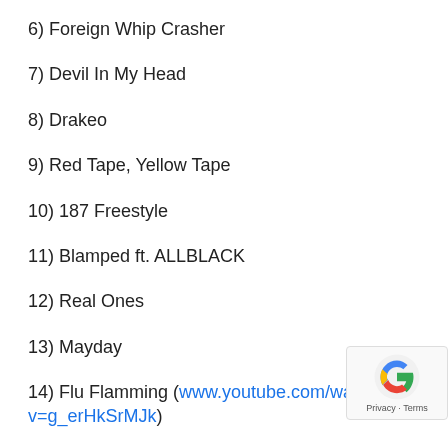6) Foreign Whip Crasher
7) Devil In My Head
8) Drakeo
9) Red Tape, Yellow Tape
10) 187 Freestyle
11) Blamped ft. ALLBLACK
12) Real Ones
13) Mayday
14) Flu Flamming (www.youtube.com/watch?v=g_erHkSrMJk)
15) Having Fun
16) Impatient Freestyle (www.youtube.com/watch?v=LOTf6EXl_Hw)